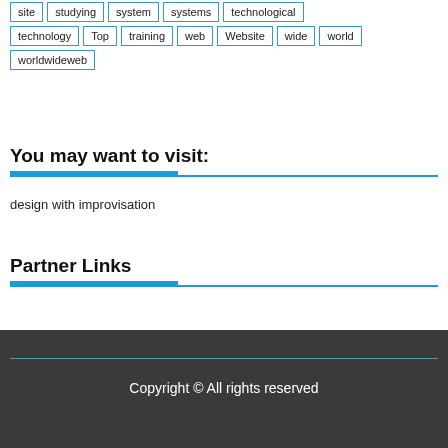site
studying
system
systems
technological
technology
Top
training
web
Website
wide
world
worldwideweb
You may want to visit:
design with improvisation
Partner Links
Copyright © All rights reserved